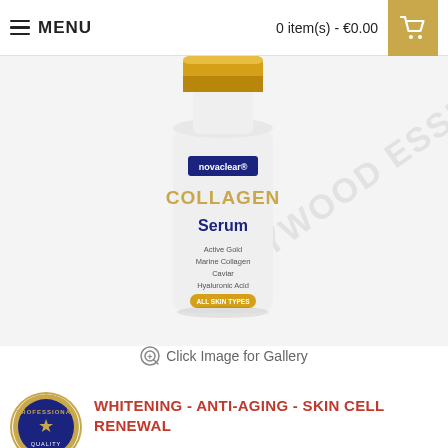≡ MENU   0 item(s) - €0.00
[Figure (photo): Novaclear Collagen Serum product bottle with gold cap, white label showing Active Gold, Marine Collagen, Caviar, Hyaluronic Acid ingredients. Hollywood Essentials watermark visible.]
Click Image for Gallery
[Figure (logo): Professional circular badge/seal logo, gold and navy colors, partial view]
WHITENING - ANTI-AGING - SKIN CELL RENEWAL